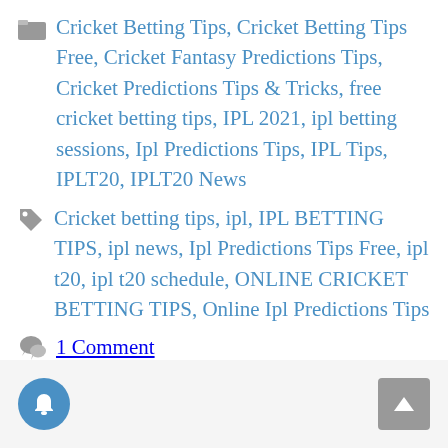Cricket Betting Tips, Cricket Betting Tips Free, Cricket Fantasy Predictions Tips, Cricket Predictions Tips & Tricks, free cricket betting tips, IPL 2021, ipl betting sessions, Ipl Predictions Tips, IPL Tips, IPLT20, IPLT20 News
Cricket betting tips, ipl, IPL BETTING TIPS, ipl news, Ipl Predictions Tips Free, ipl t20, ipl t20 schedule, ONLINE CRICKET BETTING TIPS, Online Ipl Predictions Tips
1 Comment